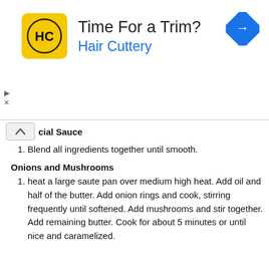[Figure (advertisement): Hair Cuttery advertisement banner with yellow logo, headline 'Time For a Trim?', subline 'Hair Cuttery', blue navigation arrow icon on the right, and ad controls (play/close) on the left.]
cial Sauce
Blend all ingredients together until smooth.
Onions and Mushrooms
heat a large saute pan over medium high heat. Add oil and half of the butter. Add onion rings and cook, stirring frequently until softened. Add mushrooms and stir together. Add remaining butter. Cook for about 5 minutes or until nice and caramelized.
SHOP THESE PRODUCTS ON AMAZON
OUT WEST: Food & Lifestyle is a participant in the Amazon Services LLC Associates Program, an affiliate advertising program designed to provide a